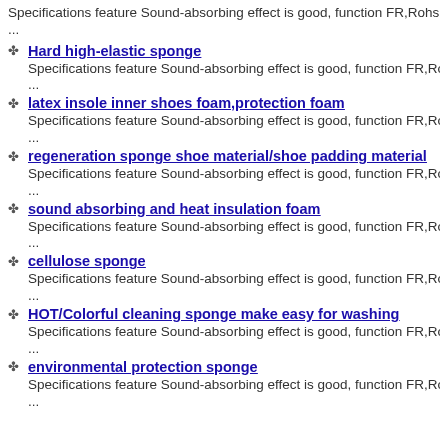Specifications feature Sound-absorbing effect is good, function FR,Rohs,svhc
...
Hard high-elastic sponge
Specifications feature Sound-absorbing effect is good, function FR,Rohs,svhc
...
latex insole inner shoes foam,protection foam
Specifications feature Sound-absorbing effect is good, function FR,Rohs,svhc
...
regeneration sponge shoe material/shoe padding material
Specifications feature Sound-absorbing effect is good, function FR,Rohs,svhc
...
sound absorbing and heat insulation foam
Specifications feature Sound-absorbing effect is good, function FR,Rohs,svhc
...
cellulose sponge
Specifications feature Sound-absorbing effect is good, function FR,Rohs,svhc
...
HOT/Colorful cleaning sponge make easy for washing
Specifications feature Sound-absorbing effect is good, function FR,Rohs,svhc
...
environmental protection sponge
Specifications feature Sound-absorbing effect is good, function FR,Rohs,svhc
...